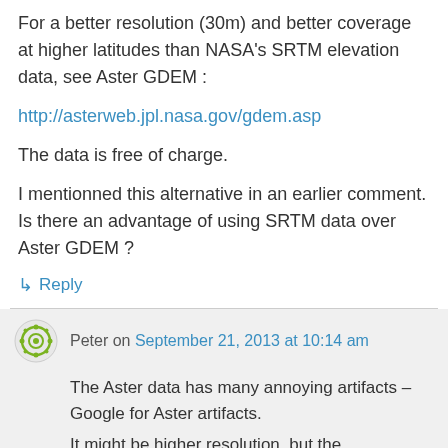For a better resolution (30m) and better coverage at higher latitudes than NASA's SRTM elevation data, see Aster GDEM :
http://asterweb.jpl.nasa.gov/gdem.asp
The data is free of charge.
I mentionned this alternative in an earlier comment. Is there an advantage of using SRTM data over Aster GDEM ?
↳ Reply
Peter on September 21, 2013 at 10:14 am
The Aster data has many annoying artifacts – Google for Aster artifacts. It might be higher resolution, but the